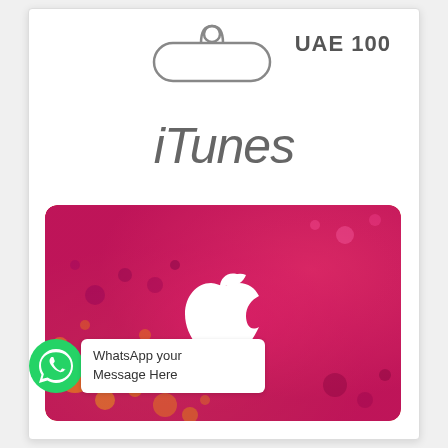[Figure (illustration): Hanger shape (rounded rectangle with hook cutout) for retail display packaging]
UAE 100
iTunes
[Figure (illustration): iTunes gift card with pink-to-orange gradient splatter background and white Apple logo in center]
[Figure (logo): WhatsApp green circle logo icon]
WhatsApp your Message Here